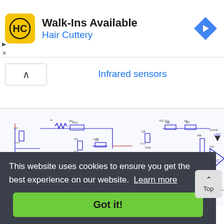[Figure (screenshot): Advertisement banner for Hair Cuttery with yellow HC logo, Walk-Ins Available text, and blue navigation arrow icon]
Infrared sensors
[Figure (circuit-diagram): Electronic circuit schematic for infrared sensors showing op-amps, resistors, capacitors, and diodes including components labeled U1B, U1C, R6, R7, R8, R9, C7, C8, C3, R3, R12, and 1N4148 diodes]
This website uses cookies to ensure you get the best experience on our website. Learn more
Got it!